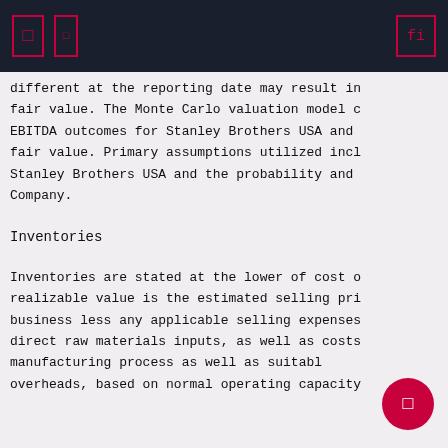[ ] [ ] fi
different at the reporting date may result in fair value. The Monte Carlo valuation model c EBITDA outcomes for Stanley Brothers USA and fair value. Primary assumptions utilized incl Stanley Brothers USA and the probability and Company.
Inventories
Inventories are stated at the lower of cost o realizable value is the estimated selling pri business less any applicable selling expenses direct raw materials inputs, as well as costs manufacturing process as well as suitable r overheads, based on normal operating capacity